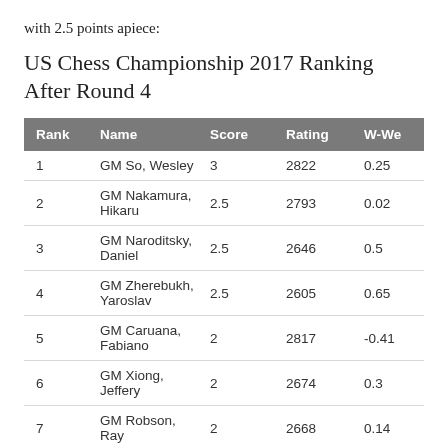with 2.5 points apiece:
US Chess Championship 2017 Ranking After Round 4
| Rank | Name | Score | Rating | W-We |
| --- | --- | --- | --- | --- |
| 1 | GM So, Wesley | 3 | 2822 | 0.25 |
| 2 | GM Nakamura, Hikaru | 2.5 | 2793 | 0.02 |
| 3 | GM Naroditsky, Daniel | 2.5 | 2646 | 0.5 |
| 4 | GM Zherebukh, Yaroslav | 2.5 | 2605 | 0.65 |
| 5 | GM Caruana, Fabiano | 2 | 2817 | -0.41 |
| 6 | GM Xiong, Jeffery | 2 | 2674 | 0.3 |
| 7 | GM Robson, Ray | 2 | 2668 | 0.14 |
| 8 | GM Onischuk, Alexander | 2 | 2667 | 0.03 |
| 9 | GM Shankland, Samuel L | 2 | 2666 | 0.33 |
| 10 | GM Akobian, Varuzhan | 2 | 2645 | -0.06 |
| 11 | GM Kamsky, Gata | 1 | 2659 | -0.91 |